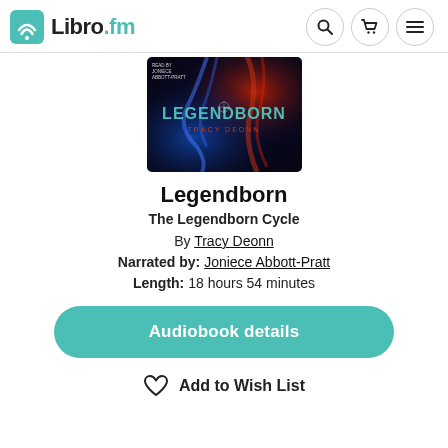Libro.fm
[Figure (photo): Audiobook cover for Legendborn by Tracy Deonn, showing a dark fantasy scene with red and blue smoke/fire, decorative hands, and the title 'Legendborn' and author name 'Tracy Deonn' prominently displayed. Text at top left reads 'Read by Joniece Abbott-Pratt'.]
Legendborn
The Legendborn Cycle
By Tracy Deonn
Narrated by: Joniece Abbott-Pratt
Length: 18 hours 54 minutes
Audiobook details
Add to Wish List